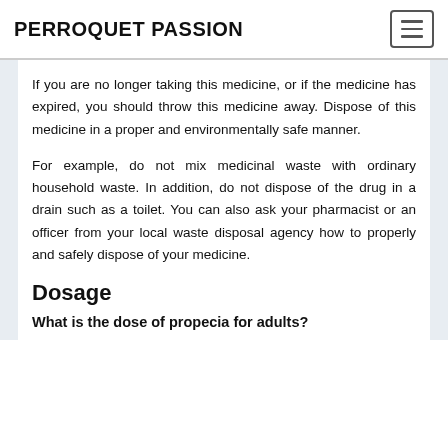PERROQUET PASSION
If you are no longer taking this medicine, or if the medicine has expired, you should throw this medicine away. Dispose of this medicine in a proper and environmentally safe manner.
For example, do not mix medicinal waste with ordinary household waste. In addition, do not dispose of the drug in a drain such as a toilet. You can also ask your pharmacist or an officer from your local waste disposal agency how to properly and safely dispose of your medicine.
Dosage
What is the dose of propecia for adults?